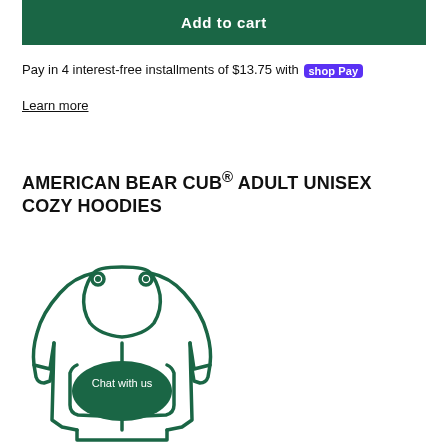Add to cart
Pay in 4 interest-free installments of $13.75 with Shop Pay
Learn more
AMERICAN BEAR CUB® ADULT UNISEX COZY HOODIES
[Figure (illustration): Line drawing illustration of a hoodie sweatshirt with a bear face/ears on the front pocket area, rendered in dark green outline style, with a 'Chat with us' chat bubble overlay on the bear face.]